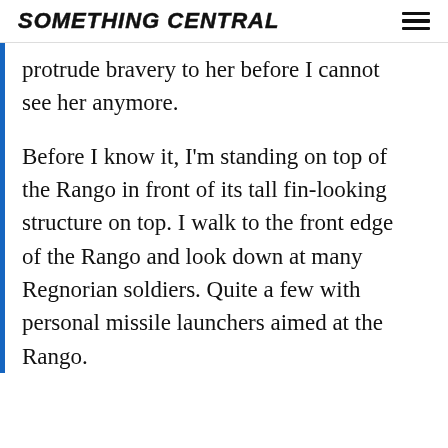SOMETHING CENTRAL
protrude bravery to her before I cannot see her anymore.
Before I know it, I'm standing on top of the Rango in front of its tall fin-looking structure on top. I walk to the front edge of the Rango and look down at many Regnorian soldiers. Quite a few with personal missile launchers aimed at the Rango.